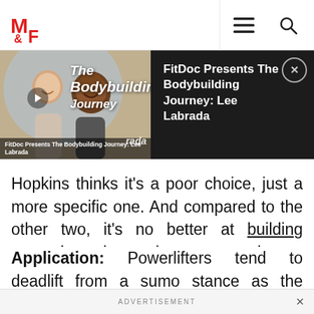[Figure (screenshot): M&F (Muscle & Fitness) website top navigation bar with red MF logo, hamburger menu icon, and search icon]
[Figure (screenshot): Video thumbnail panel showing FitDoc Presents The Bodybuilding Journey: Lee Labrada, with two people smiling and italic overlay text 'The Bodybuilding Journey'. Right side shows title text on dark background with X close button.]
Hopkins thinks it’s a poor choice, just a more specific one. And compared to the other two, it’s no better at building strength and muscle , yet requires a more significant learning curve.
Application: Powerlifters tend to deadlift from a sumo stance as the range of motion is shorter given that their feet are spread so wide. Hopkins says that for most people, you’ll have
ADVERTISEMENT